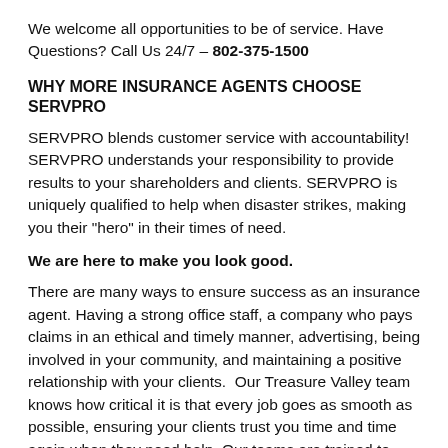We welcome all opportunities to be of service. Have Questions? Call Us 24/7 – 802-375-1500
WHY MORE INSURANCE AGENTS CHOOSE SERVPRO
SERVPRO blends customer service with accountability! SERVPRO understands your responsibility to provide results to your shareholders and clients. SERVPRO is uniquely qualified to help when disaster strikes, making you their "hero" in their times of need.
We are here to make you look good.
There are many ways to ensure success as an insurance agent. Having a strong office staff, a company who pays claims in an ethical and timely manner, advertising, being involved in your community, and maintaining a positive relationship with your clients.  Our Treasure Valley team knows how critical it is that every job goes as smooth as possible, ensuring your clients trust you time and time again when they need help. Our teams are trained to reduce the lost time and mitigate the damages as quickly as possible. Whether it's fire, water, mold or any other cleanup; we are here to help, 24 hours a day.